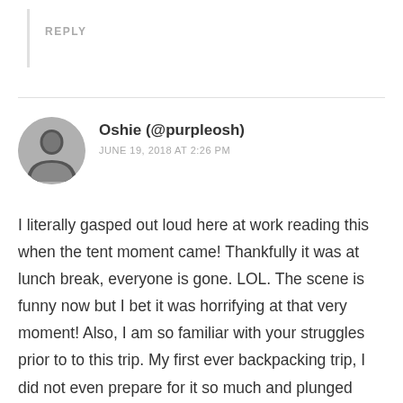REPLY
Oshie (@purpleosh)
JUNE 19, 2018 AT 2:26 PM
I literally gasped out loud here at work reading this when the tent moment came! Thankfully it was at lunch break, everyone is gone. LOL. The scene is funny now but I bet it was horrifying at that very moment! Also, I am so familiar with your struggles prior to to this trip. My first ever backpacking trip, I did not even prepare for it so much and plunged deep into a 10 mile hike. But the insecurities did not come till after, when I fell madly in love with it and I started researching to learn more about backpacking since I